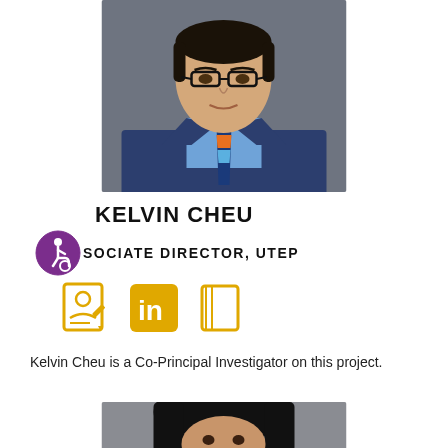[Figure (photo): Headshot of Kelvin Cheu, an East Asian man wearing glasses, a blue suit, blue shirt, and a colorful tie, photographed against a grey background.]
KELVIN CHEU
ASSOCIATE DIRECTOR, UTEP
[Figure (infographic): Three social/profile icons in amber/yellow: a profile card icon, a LinkedIn icon, and a book/publication icon.]
Kelvin Cheu is a Co-Principal Investigator on this project.
[Figure (photo): Partial headshot of a woman wearing a black hijab, photographed against a grey background. Only the upper portion of the face is visible.]